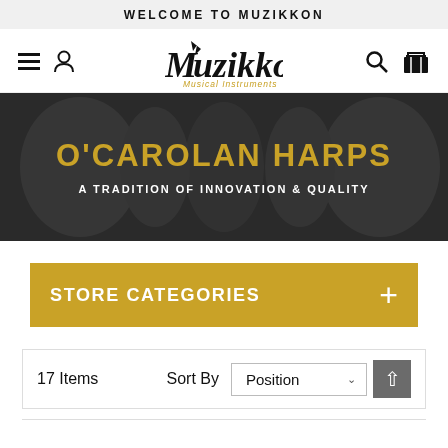WELCOME TO MUZIKKON
[Figure (logo): Muzikkon Musical Instruments logo with stylized text and star in letter M]
[Figure (other): O'Carolan Harps hero banner with dark background and decorative harp imagery. Title: O'CAROLAN HARPS, Subtitle: A TRADITION OF INNOVATION & QUALITY]
STORE CATEGORIES
17 Items   Sort By   Position